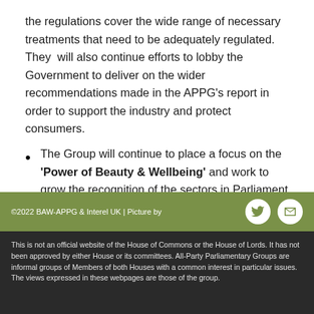the regulations cover the wide range of necessary treatments that need to be adequately regulated. They  will also continue efforts to lobby the Government to deliver on the wider recommendations made in the APPG's report in order to support the industry and protect consumers.
The Group will continue to place a focus on the 'Power of Beauty & Wellbeing' and work to grow the recognition of the sectors in Parliament and with Government. This will
©2022 BAW-APPG & Interel UK | Picture by
This is not an official website of the House of Commons or the House of Lords. It has not been approved by either House or its committees. All-Party Parliamentary Groups are informal groups of Members of both Houses with a common interest in particular issues. The views expressed in these webpages are those of the group.